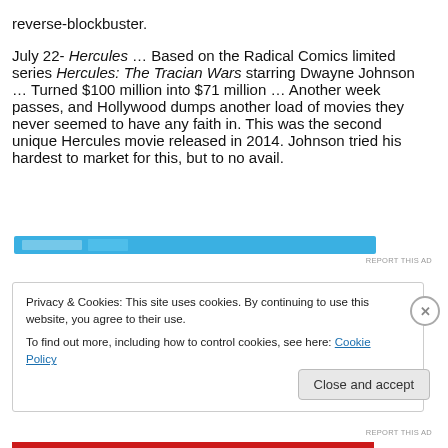reverse-blockbuster.
July 22- Hercules … Based on the Radical Comics limited series Hercules: The Tracian Wars starring Dwayne Johnson … Turned $100 million into $71 million … Another week passes, and Hollywood dumps another load of movies they never seemed to have any faith in. This was the second unique Hercules movie released in 2014. Johnson tried his hardest to market for this, but to no avail.
[Figure (other): Blue advertisement banner strip]
Privacy & Cookies: This site uses cookies. By continuing to use this website, you agree to their use.
To find out more, including how to control cookies, see here: Cookie Policy
Close and accept